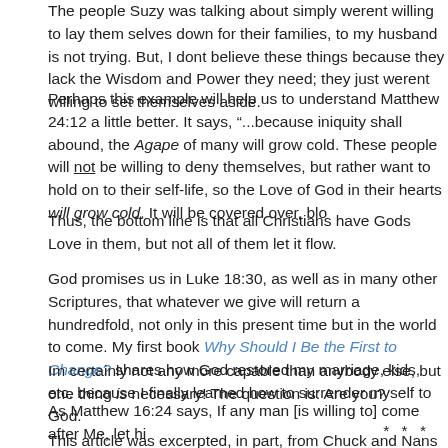The people Suzy was talking about simply werent willing to lay them families, to my husband is not trying. But, I dont believe these things Wisdom and Power they need; they just werent willing to set themsel
Perhaps this example will help us to understand Matthew 24:12 a littl ...because iniquity shall abound, the Agape of many will grow cold. T will not be willing to deny themselves, but rather want to hold on to t Love of God in their hearts will grow cold. It will be covered over, blo
Thus, the bottom line is that all Christians have Gods Love in them, b it flow.
God promises us in Luke 18:30, as well as in many other Scriptures, will return a hundredfold, not only in this present time but in the worl My first book Why Should I Be the First to Change? shares how God kids, etc. because I finally learned how to surrender myself to God.
Im certainly not any more capable than anybody else, but one thing is necessary! The question is: Are you?
As Matthew 16:24 says, If any man [is willing to] come after Me, let hi
* * *
This article was excerpted, in part, from Chuck and Nans book, Again